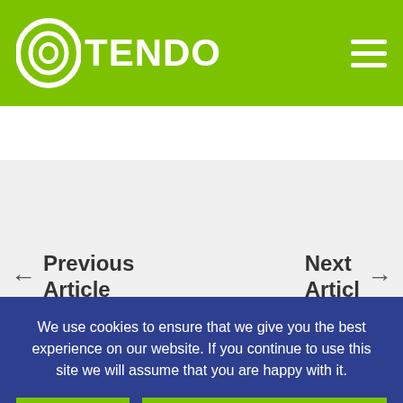OTENDO
Previous Article
Next Articl
We use cookies to ensure that we give you the best experience on our website. If you continue to use this site we will assume that you are happy with it.
OK
NO COOKIES FOR ME
PRIVACY POLICY